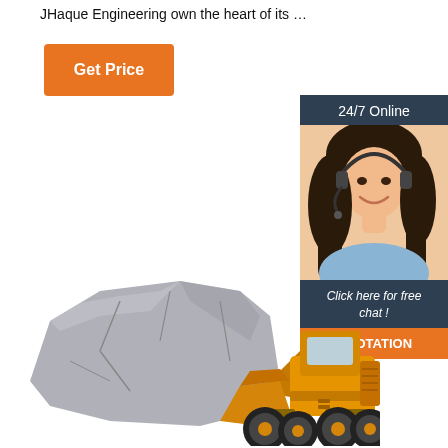JHaque Engineering own the heart of its …
[Figure (other): Orange 'Get Price' button]
[Figure (other): 24/7 Online support banner with a woman wearing a headset, dark blue background, with 'Click here for free chat!' text and an orange QUOTATION button]
[Figure (photo): Yellow front loader / wheel loader carrying a large grey boulder/rock in its bucket, shown on a white background]